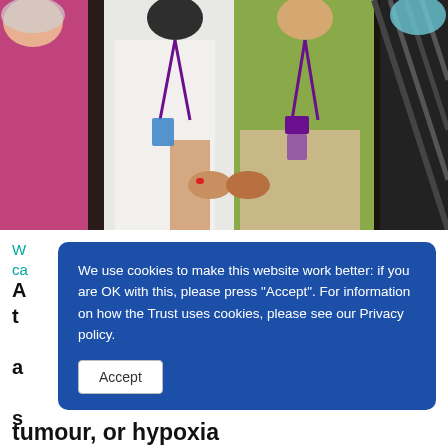[Figure (photo): Group photo of NHS staff members wearing lanyards/ID badges, partially cropped. From left: person in pink/magenta top, person in white top, person in olive/green cardigan, person partially visible on right in dark clothing.]
W... ca...
A... t... a... s... tumour, or hypoxia
[Figure (screenshot): Cookie consent dialog overlay with blue background. Text reads: 'We use cookies to make this website work better: if you are OK with this, please press "Accept". For information on how the Trust uses cookies, please see our Privacy policy.' With an Accept button below.]